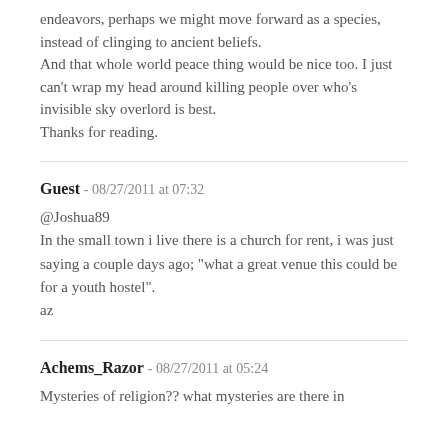endeavors, perhaps we might move forward as a species, instead of clinging to ancient beliefs. And that whole world peace thing would be nice too. I just can't wrap my head around killing people over who's invisible sky overlord is best. Thanks for reading.
Guest - 08/27/2011 at 07:32
@Joshua89
In the small town i live there is a church for rent, i was just saying a couple days ago; "what a great venue this could be for a youth hostel".
az
Achems_Razor - 08/27/2011 at 05:24
Mysteries of religion?? what mysteries are there in